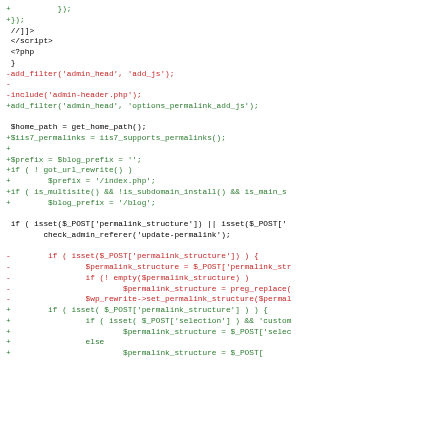Code diff showing PHP/JavaScript source changes with added (+) and removed (-) lines